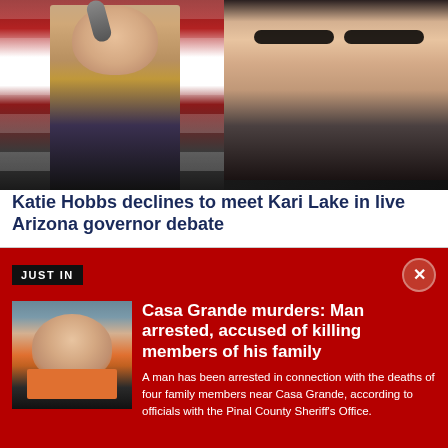[Figure (photo): Side-by-side photos of two women at political events. Left: woman in patterned top holding microphone on stage with American flag background. Right: woman with glasses in dark sweater at an event.]
Katie Hobbs declines to meet Kari Lake in live Arizona governor debate
JUST IN
[Figure (photo): Mugshot-style photo of a young man in an orange jail jumpsuit.]
Casa Grande murders: Man arrested, accused of killing members of his family
A man has been arrested in connection with the deaths of four family members near Casa Grande, according to officials with the Pinal County Sheriff's Office.